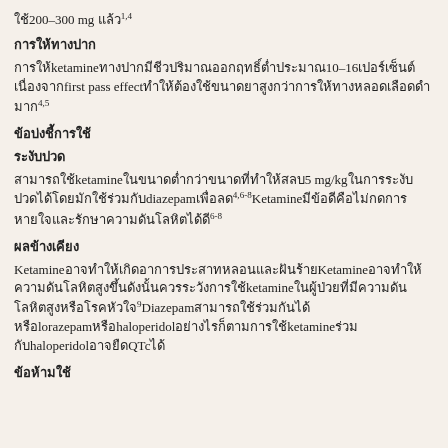ใช้200–300 mg แล้ว1,4
การให้ทางปาก
การให้ketamineทางปากมีชีวปริมาณออกฤทธิ์ต่ำประมาณ10–16เปอร์เซ็นต์เนื่องจากfirst pass effectทำให้ต้องใช้ขนาดยาสูงกว่าการให้ทางหลอดเลือดดำมาก4,5
ข้อบ่งชี้การใช้
ระงับปวด
สามารถใช้ketamineในขนาดต่ำกว่าขนาดที่ทำให้สลบ5 mg/kgในการระงับปวดได้โดยมักใช้ร่วมกับdiazepamเพื่อลด4,6-8Ketamineมีข้อดีคือไม่กดการหายใจและรักษาความดันโลหิตได้ดี6-8
ผลข้างเคียง
Ketamineอาจทำให้เกิดอาการประสาทหลอนและฝันร้ายKetamineอาจทำให้ความดันโลหิตสูงขึ้นดังนั้นควรระวังการใช้ketamineในผู้ป่วยที่มีความดันโลหิตสูงหรือโรคหัวใจ9Diazepamสามารถใช้ร่วมกันได้หรือlorazepamหรือhaloperidolอย่างไรก็ตามการใช้ketamineร่วมกับhaloperidolอาจยืดQTcได้
ข้อห้ามใช้